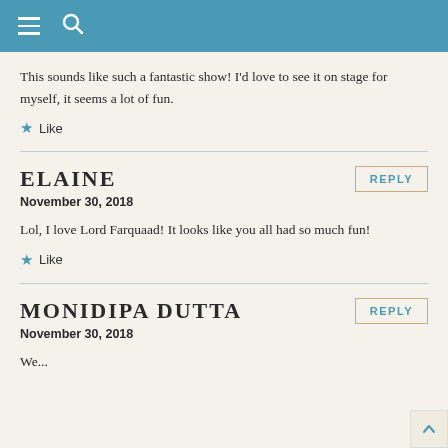☰ 🔍
This sounds like such a fantastic show! I'd love to see it on stage for myself, it seems a lot of fun.
Like
ELAINE
November 30, 2018
REPLY
Lol, I love Lord Farquaad! It looks like you all had so much fun!
Like
MONIDIPA DUTTA
November 30, 2018
REPLY
We...